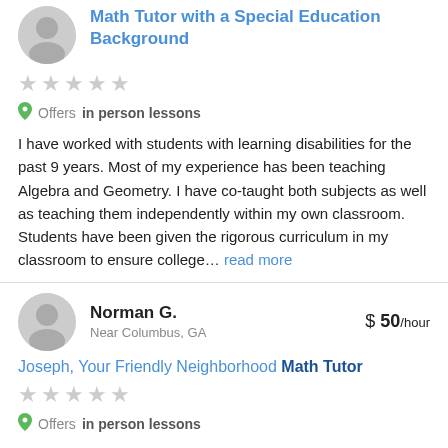Math Tutor with a Special Education Background
Offers in person lessons
I have worked with students with learning disabilities for the past 9 years. Most of my experience has been teaching Algebra and Geometry. I have co-taught both subjects as well as teaching them independently within my own classroom. Students have been given the rigorous curriculum in my classroom to ensure college... read more
Norman G. — Near Columbus, GA — $50/hour
Joseph, Your Friendly Neighborhood Math Tutor
Offers in person lessons